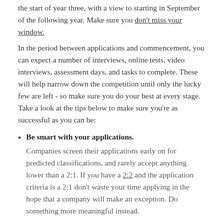the start of year three, with a view to starting in September of the following year. Make sure you don't miss your window.
In the period between applications and commencement, you can expect a number of interviews, online tests, video interviews, assessment days, and tasks to complete. These will help narrow down the competition until only the lucky few are left - so make sure you do your best at every stage. Take a look at the tips below to make sure you're as successful as you can be:
Be smart with your applications. Companies screen their applications early on for predicted classifications, and rarely accept anything lower than a 2:1. If you have a 2:2 and the application criteria is a 2:1 don't waste your time applying in the hope that a company will make an exception. Do something more meaningful instead.
Do your research.